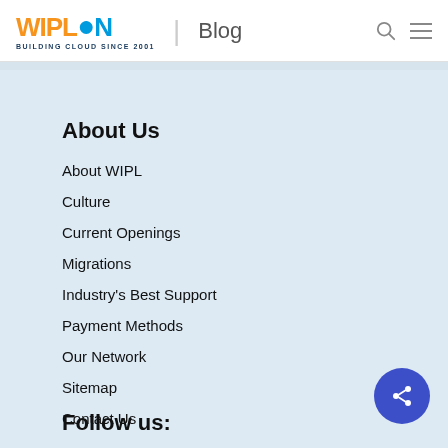WIPLON Blog
About Us
About WIPL
Culture
Current Openings
Migrations
Industry's Best Support
Payment Methods
Our Network
Sitemap
Contact Us
Follow us: